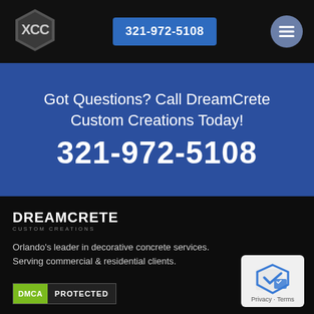[Figure (logo): DreamCrete Custom Creations hexagon logo with XCC letters in dark gray hexagonal badge]
321-972-5108
Got Questions? Call DreamCrete Custom Creations Today!
321-972-5108
[Figure (logo): DreamCrete Custom Creations text logo in white on black background]
Orlando's leader in decorative concrete services. Serving commercial & residential clients.
[Figure (other): DMCA Protected badge with green DMCA label and dark PROTECTED text]
[Figure (other): Google Privacy widget with blue shield icon and Privacy - Terms text]